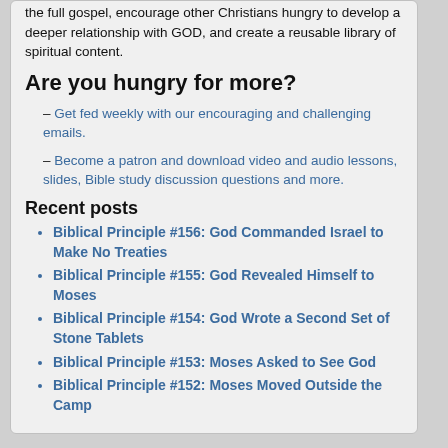the full gospel, encourage other Christians hungry to develop a deeper relationship with GOD, and create a reusable library of spiritual content.
Are you hungry for more?
– Get fed weekly with our encouraging and challenging emails.
– Become a patron and download video and audio lessons, slides, Bible study discussion questions and more.
Recent posts
Biblical Principle #156: God Commanded Israel to Make No Treaties
Biblical Principle #155: God Revealed Himself to Moses
Biblical Principle #154: God Wrote a Second Set of Stone Tablets
Biblical Principle #153: Moses Asked to See God
Biblical Principle #152: Moses Moved Outside the Camp